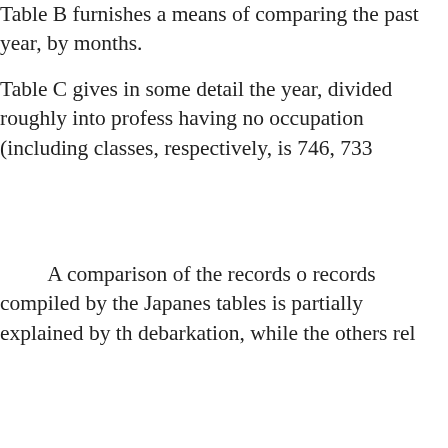Table B furnishes a means of co[mparing] the past year, by months.
Table C gives in some detail the [arrivals of the] year, divided roughly into profes[sional classes,] having no occupation (including [children), and] classes, respectively, is 746, 733[...]
A comparison of the records o[f this bureau with] records compiled by the Japanes[e government. The] tables is partially explained by th[e fact that one set] debarkation, while the others rel[ate to embarkation.]
Table E shows that during the pa[st fiscal year,] of whom 11,404 were admitted a[fter presenting] proper passports and 335 were no[t admitted. Upon] examination to belong to the cla[ss of laborers and] not to fall within such classes. Th[ese consisted of] parents, wives, and children of re[sidents, and] nonlaborers. The 48 in possessio[n of passports for] laborers and not to be former res[idents included in] the 11,466 applying for admissio[n, 11,131 sought] admission on the claim of relatio[nship to present] residents. Of the passports prese[nted, 11,418] gave such occupation as laboring[...] interesting pertinent details rega[rding...]